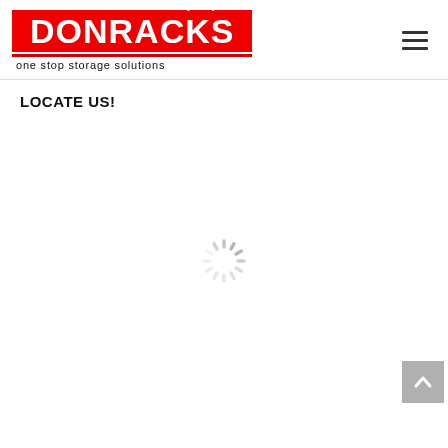[Figure (logo): DONRACKS logo — red box with white bold text 'DONRACKS', red double underline, tagline 'one stop storage solutions' below]
LOCATE US!
[Figure (screenshot): Loading spinner (circular dashed spinner icon) indicating a map is loading]
[Figure (other): Scroll-to-top button with upward arrow, gray background, bottom-right corner]